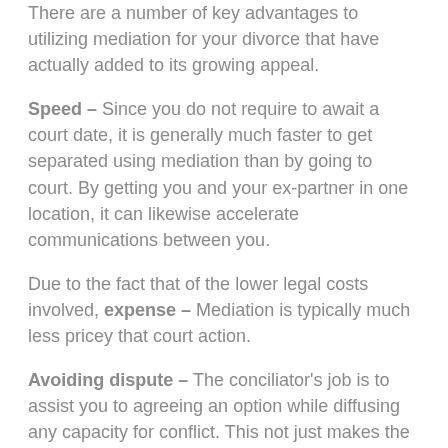There are a number of key advantages to utilizing mediation for your divorce that have actually added to its growing appeal.
Speed – Since you do not require to await a court date, it is generally much faster to get separated using mediation than by going to court. By getting you and your ex-partner in one location, it can likewise accelerate communications between you.
Due to the fact that of the lower legal costs involved, expense – Mediation is typically much less pricey that court action.
Avoiding dispute – The conciliator's job is to assist you to agreeing an option while diffusing any capacity for conflict. This not just makes the process of getting divorce more straightforward but can it cut...